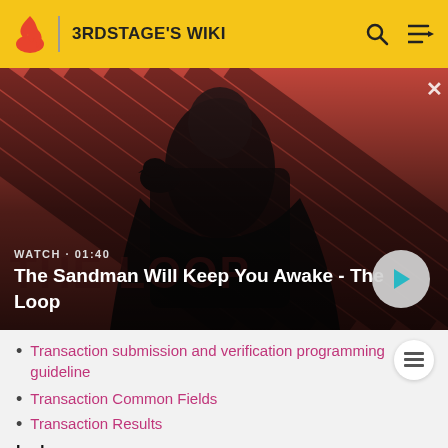3RDSTAGE'S WIKI
[Figure (screenshot): Video thumbnail for 'The Sandman Will Keep You Awake - The Loop' showing a dark-cloaked figure with a raven on shoulder against a red and dark diagonal striped background. Shows WATCH • 01:40 label and a play button.]
Transaction submission and verification programming guideline
Transaction Common Fields
Transaction Results
Ledger